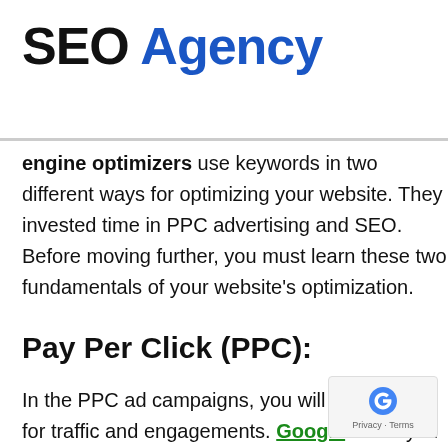SEO Agency
engine optimizers use keywords in two different ways for optimizing your website. They invested time in PPC advertising and SEO. Before moving further, you must learn these two fundamentals of your website's optimization.
Pay Per Click (PPC):
In the PPC ad campaigns, you will pay Google for traffic and engagements. Google offers you a platform where you can choose keywords to bid on. When a re...